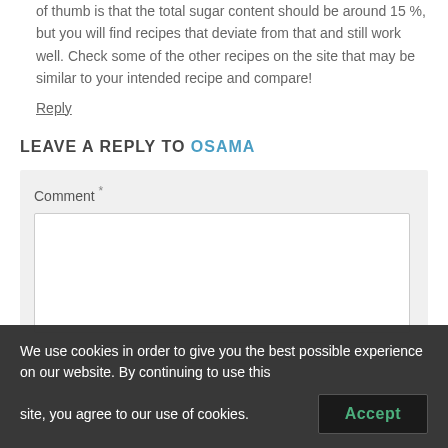of thumb is that the total sugar content should be around 15 %, but you will find recipes that deviate from that and still work well. Check some of the other recipes on the site that may be similar to your intended recipe and compare!
Reply
LEAVE A REPLY TO OSAMA
Comment *
We use cookies in order to give you the best possible experience on our website. By continuing to use this site, you agree to our use of cookies.
Accept